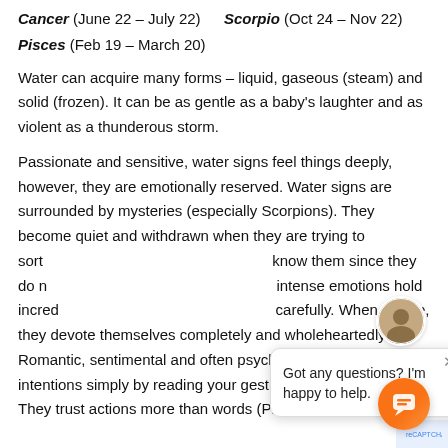Cancer (June 22 – July 22)    Scorpio (Oct 24 – Nov 22)
Pisces (Feb 19 – March 20)
Water can acquire many forms – liquid, gaseous (steam) and solid (frozen). It can be as gentle as a baby's laughter and as violent as a thunderous storm.
Passionate and sensitive, water signs feel things deeply, however, they are emotionally reserved. Water signs are surrounded by mysteries (especially Scorpions). They become quiet and withdrawn when they are trying to sort know them since they do n intense emotions hold incred carefully. When in love, they devote themselves completely and wholeheartedly. Romantic, sentimental and often psychic, read your true intentions simply by reading your gestures a language. They trust actions more than words (Pisc
Got any questions? I'm happy to help.